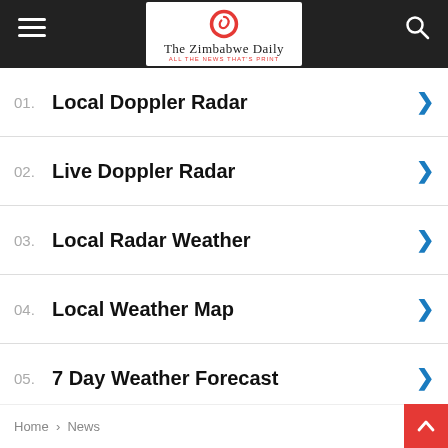The Zimbabwe Daily
01. Local Doppler Radar
02. Live Doppler Radar
03. Local Radar Weather
04. Local Weather Map
05. 7 Day Weather Forecast
Yahoo! Search | Sponsored
Home › News